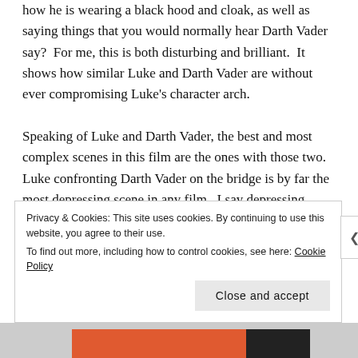how he is wearing a black hood and cloak, as well as saying things that you would normally hear Darth Vader say?  For me, this is both disturbing and brilliant.  It shows how similar Luke and Darth Vader are without ever compromising Luke's character arch.
Speaking of Luke and Darth Vader, the best and most complex scenes in this film are the ones with those two.  Luke confronting Darth Vader on the bridge is by far the most depressing scene in any film.  I say depressing because it's clear that Darth Vader is too far gone, yet it is admirable to see Luke give it
Privacy & Cookies: This site uses cookies. By continuing to use this website, you agree to their use.
To find out more, including how to control cookies, see here: Cookie Policy
Close and accept